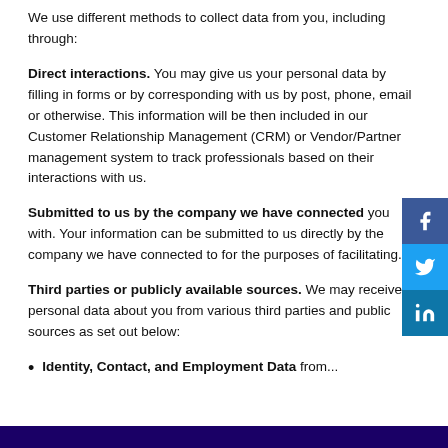We use different methods to collect data from you, including through:
Direct interactions. You may give us your personal data by filling in forms or by corresponding with us by post, phone, email or otherwise. This information will be then included in our Customer Relationship Management (CRM) or Vendor/Partner management system to track professionals based on their interactions with us.
Submitted to us by the company we have connected you with. Your information can be submitted to us directly by the company we have connected to for the purposes of facilitating...
Third parties or publicly available sources. We may receive personal data about you from various third parties and public sources as set out below:
Identity, Contact, and Employment Data from...